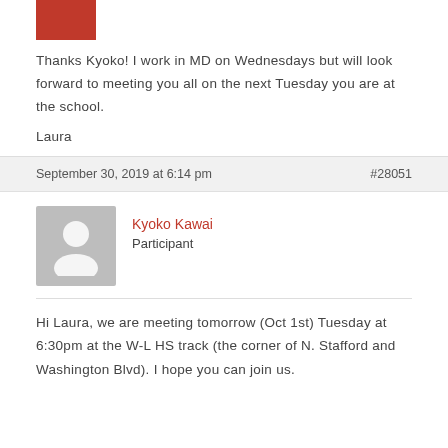[Figure (photo): Small red avatar image at top left]
Thanks Kyoko! I work in MD on Wednesdays but will look forward to meeting you all on the next Tuesday you are at the school.
Laura
September 30, 2019 at 6:14 pm
#28051
[Figure (illustration): Gray placeholder avatar silhouette for Kyoko Kawai]
Kyoko Kawai
Participant
Hi Laura, we are meeting tomorrow (Oct 1st) Tuesday at 6:30pm at the W-L HS track (the corner of N. Stafford and Washington Blvd).  I hope you can join us.